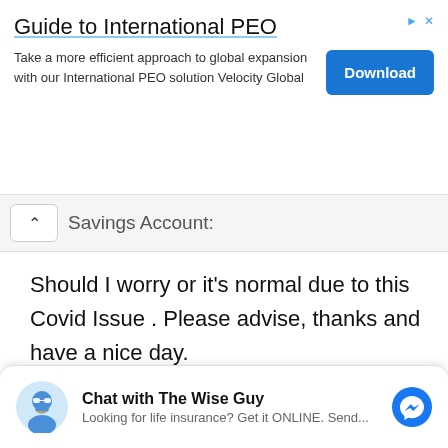[Figure (screenshot): Advertisement banner for 'Guide to International PEO' with a Download button and Ad icons in the top right.]
Savings Account:
Should I worry or it's normal due to this Covid Issue . Please advise, thanks and have a nice day.
Federico Suan, Jr.  Link  Reply
Hi Mikoy. It may take 2 to 3 banking
[Figure (screenshot): Chat with The Wise Guy widget — Looking for life insurance? Get it ONLINE. Send...]